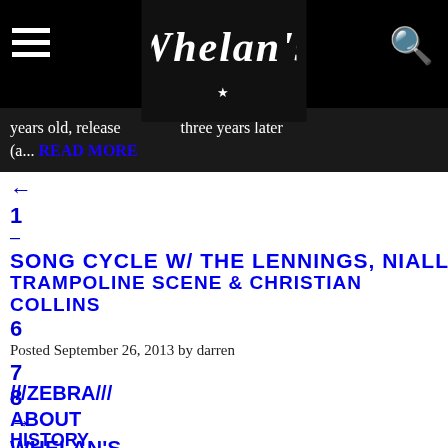Whelan's website header with hamburger menu, Whelan's logo, and search icon
years old, release ... three years later (a... READ MORE
← (back arrow)
1
–
SONG CYCLE W/ THE LENNINGS, NIALL THOMAS
TRAMPOLINE SCENE & CHRISTIAN COLLINS
6
Posted September 26, 2013 by darren
7
8
→ (forward arrow)
WHELAN'S
///ZEBRA///
ABOUT
HISTORY
OUR SPACES
PREVIOUS EVENTS